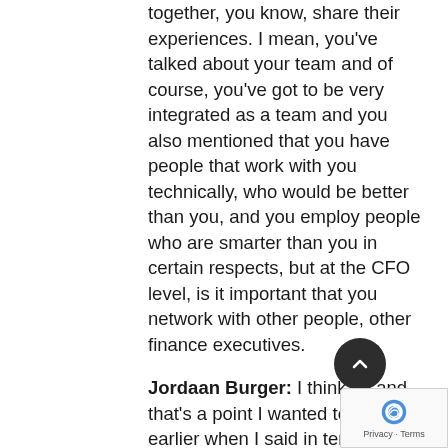together, you know, share their experiences. I mean, you've talked about your team and of course, you've got to be very integrated as a team and you also mentioned that you have people that work with you technically, who would be better than you, and you employ people who are smarter than you in certain respects, but at the CFO level, is it important that you network with other people, other finance executives.
Jordaan Burger: I think so and that's a point I wanted to make earlier when I said in terms of how you develop. So it's really important to get that input from somewhere, whether it's other finance professionals you're working with, or